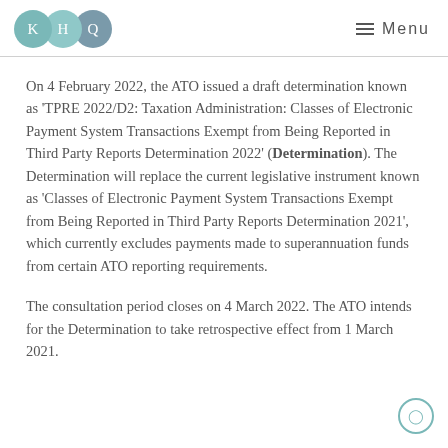KHQ — Menu
On 4 February 2022, the ATO issued a draft determination known as 'TPRE 2022/D2: Taxation Administration: Classes of Electronic Payment System Transactions Exempt from Being Reported in Third Party Reports Determination 2022' (Determination). The Determination will replace the current legislative instrument known as 'Classes of Electronic Payment System Transactions Exempt from Being Reported in Third Party Reports Determination 2021', which currently excludes payments made to superannuation funds from certain ATO reporting requirements.
The consultation period closes on 4 March 2022. The ATO intends for the Determination to take retrospective effect from 1 March 2021.